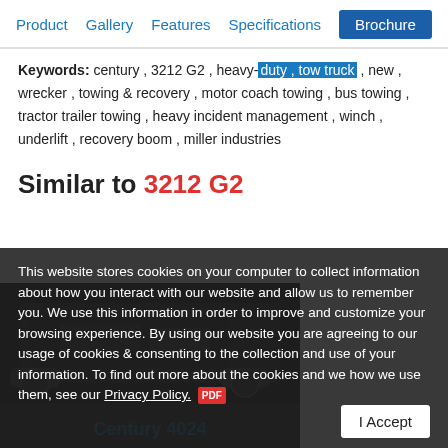Product   Gallery   Features   Specifications   Brochure
Keywords: century , 3212 G2 , heavy-duty , tow truck , new , wrecker , towing & recovery , motor coach towing , bus towing , tractor trailer towing , heavy incident management , winch , underlift , recovery boom , miller industries
Similar to 3212 G2
[Figure (photo): Dark photo of a heavy-duty tow truck, partially visible, with Century 4024 label below]
This website stores cookies on your computer to collect information about how you interact with our website and allow us to remember you. We use this information in order to improve and customize your browsing experience. By using our website you are agreeing to our usage of cookies & consenting to the collection and use of your information. To find out more about the cookies and we how we use them, see our Privacy Policy. PDF
I Accept